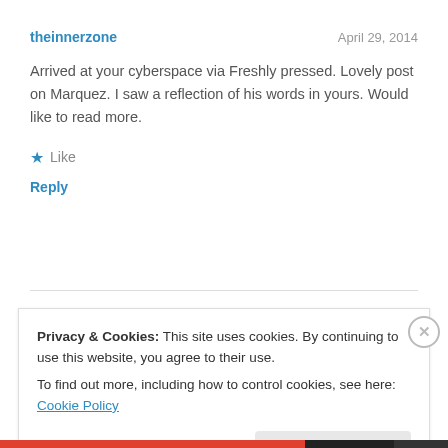theinnerzone
April 29, 2014
Arrived at your cyberspace via Freshly pressed. Lovely post on Marquez. I saw a reflection of his words in yours. Would like to read more.
★ Like
Reply
Privacy & Cookies: This site uses cookies. By continuing to use this website, you agree to their use.
To find out more, including how to control cookies, see here: Cookie Policy
Close and accept